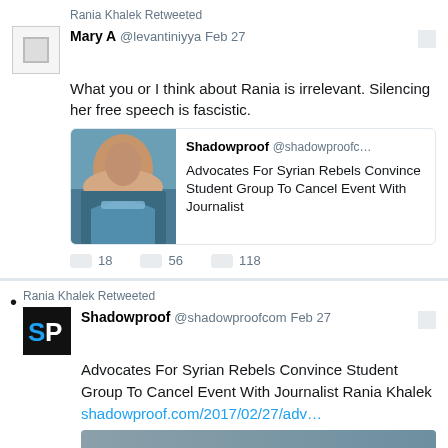Rania Khalek Retweeted
Mary A @levantiniyya Feb 27
What you or I think about Rania is irrelevant. Silencing her free speech is fascistic.
[Figure (screenshot): Embedded tweet card from Shadowproof @shadowproofc... with image of woman in blue scarf and headline: Advocates For Syrian Rebels Convince Student Group To Cancel Event With Journalist]
18  56  118
Rania Khalek Retweeted
Shadowproof @shadowproofcom Feb 27
Advocates For Syrian Rebels Convince Student Group To Cancel Event With Journalist Rania Khalek shadowproof.com/2017/02/27/adv...